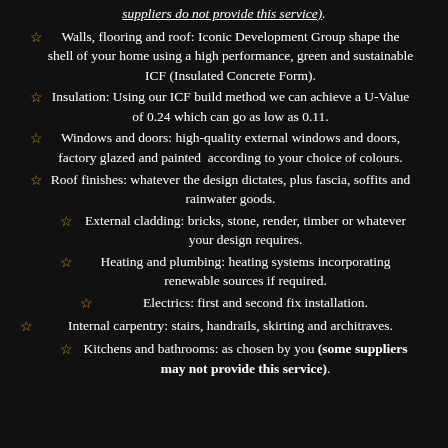suppliers do not provide this service).
Walls, flooring and roof: Iconic Development Group shape the shell of your home using a high performance, green and sustainable ICF (Insulated Concrete Form).
Insulation: Using our ICF build method we can achieve a U-Value of 0.24 which can go as low as 0.11.
Windows and doors: high-quality external windows and doors, factory glazed and painted according to your choice of colours.
Roof finishes: whatever the design dictates, plus fascia, soffits and rainwater goods.
External cladding: bricks, stone, render, timber or whatever your design requires.
Heating and plumbing: heating systems incorporating renewable sources if required.
Electrics: first and second fix installation.
Internal carpentry: stairs, handrails, skirting and architraves.
Kitchens and bathrooms: as chosen by you (some suppliers may not provide this service).